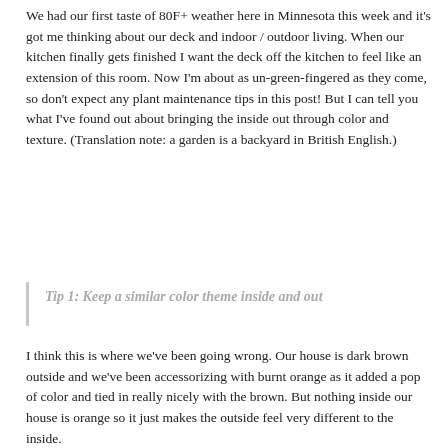We had our first taste of 80F+ weather here in Minnesota this week and it's got me thinking about our deck and indoor / outdoor living. When our kitchen finally gets finished I want the deck off the kitchen to feel like an extension of this room. Now I'm about as un-green-fingered as they come, so don't expect any plant maintenance tips in this post! But I can tell you what I've found out about bringing the inside out through color and texture. (Translation note: a garden is a backyard in British English.)
Tip 1: Keep a similar color theme inside and out
I think this is where we've been going wrong. Our house is dark brown outside and we've been accessorizing with burnt orange as it added a pop of color and tied in really nicely with the brown. But nothing inside our house is orange so it just makes the outside feel very different to the inside.
Our new kitchen will be warm grays, whites and natural wood. So to tie in the outside this season, we will want to tie in these colors outside.
Advertisements
[Figure (other): Advertisement banner for ULTA beauty showing makeup images (lips, makeup brush, eye, ULTA logo, eyes, SHOP NOW) in a horizontal strip]